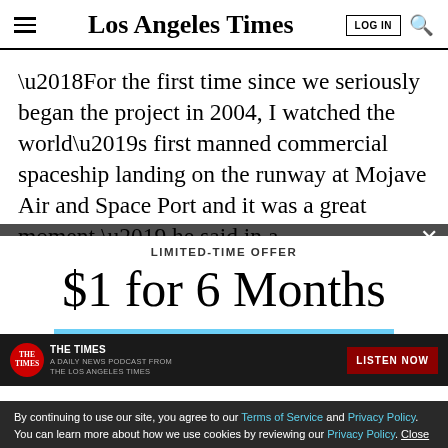Los Angeles Times
‘For the first time since we seriously began the project in 2004, I watched the world’s first manned commercial spaceship landing on the runway at Mojave Air and Space Port and it was a great moment,’ he said in a
LIMITED-TIME OFFER
$1 for 6 Months
SUBSCRIBE NOW
By continuing to use our site, you agree to our Terms of Service and Privacy Policy. You can learn more about how we use cookies by reviewing our Privacy Policy. Close